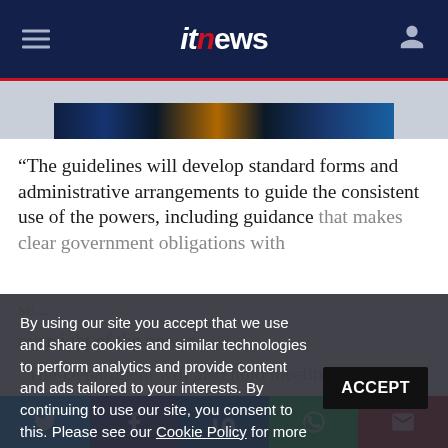itnews
[Figure (photo): Dark blue technology image strip showing circuit boards and tech elements with gold highlight]
“The guidelines will develop standard forms and administrative arrangements to guide the consistent use of the powers, including guidance that makes clear government obligations with ... oversight of the powers...
By using our site you accept that we use and share cookies and similar technologies to perform analytics and provide content and ads tailored to your interests. By continuing to use our site, you consent to this. Please see our Cookie Policy for more information.